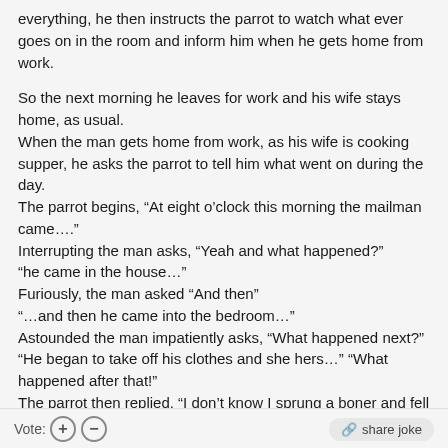everything, he then instructs the parrot to watch what ever goes on in the room and inform him when he gets home from work.
So the next morning he leaves for work and his wife stays home, as usual.
When the man gets home from work, as his wife is cooking supper, he asks the parrot to tell him what went on during the day.
The parrot begins, “At eight o’clock this morning the mailman came….”
Interrupting the man asks, “Yeah and what happened?”
“he came in the house…”
Furiously, the man asked “And then”
“…and then he came into the bedroom…”
Astounded the man impatiently asks, “What happened next?”
“He began to take off his clothes and she hers…” “What happened after that!”
The parrot then replied, “I don’t know I sprung a boner and fell off!”
Vote: (+) (-) share joke